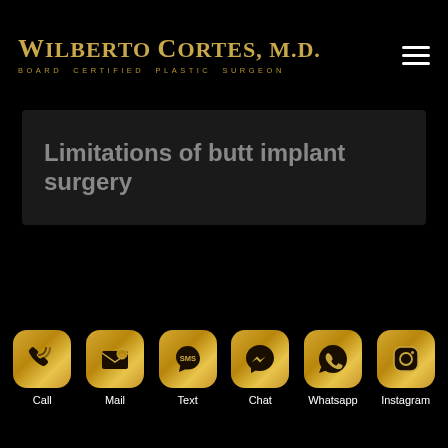Wilberto Cortes, M.D. Board Certified Plastic Surgeon
Limitations of butt implant surgery
[Figure (other): Contact bar with six golden rounded-square icons: Call (phone), Mail (envelope), Text (SMS speech bubble), Chat (Messenger logo), Whatsapp (phone in speech bubble), Instagram (camera)]